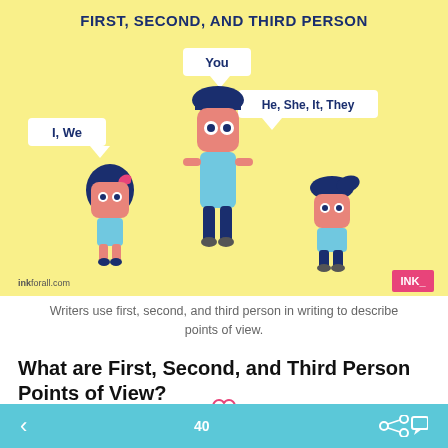[Figure (illustration): Educational infographic on a yellow background showing three cartoon characters representing first, second, and third person points of view. A girl with a speech bubble 'I, We' (first person), a tall figure with 'You' (second person), and a boy with 'He, She, It, They' (third person). Title reads 'FIRST, SECOND, AND THIRD PERSON'. Watermark: inkforall.com and INK logo.]
Writers use first, second, and third person in writing to describe points of view.
What are First, Second, and Third Person Points of View?
40